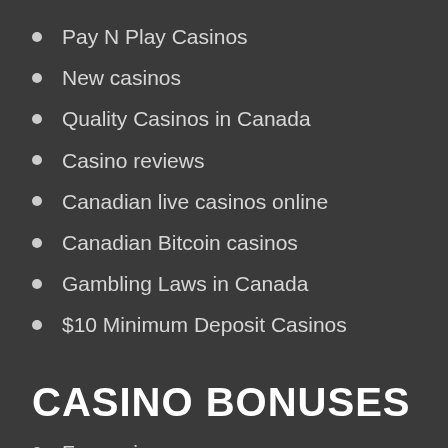Pay N Play Casinos
New casinos
Quality Casinos in Canada
Casino reviews
Canadian live casinos online
Canadian Bitcoin casinos
Gambling Laws in Canada
$10 Minimum Deposit Casinos
CASINO BONUSES
Free spins
Casino bonus